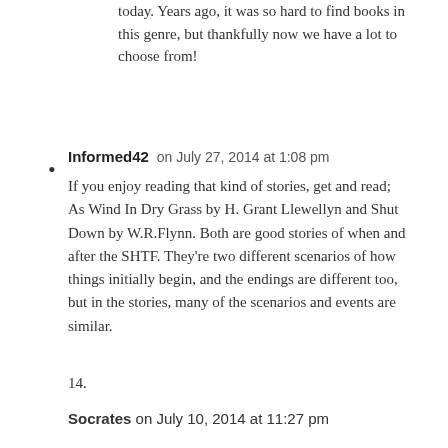today. Years ago, it was so hard to find books in this genre, but thankfully now we have a lot to choose from!
Informed42 on July 27, 2014 at 1:08 pm

If you enjoy reading that kind of stories, get and read;
As Wind In Dry Grass by H. Grant Llewellyn and Shut Down by W.R.Flynn. Both are good stories of when and after the SHTF. They're two different scenarios of how things initially begin, and the endings are different too, but in the stories, many of the scenarios and events are similar.
14.
Socrates on July 10, 2014 at 11:27 pm